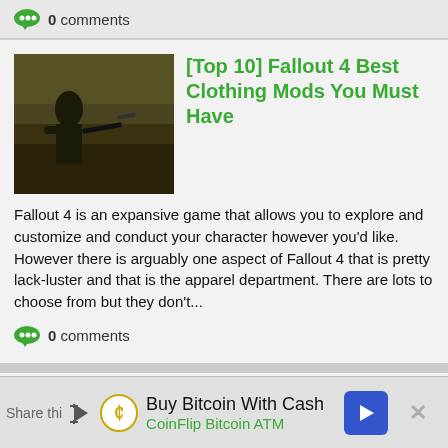0 comments
[Figure (photo): Fallout 4 character in post-apocalyptic environment with weapon]
[Top 10] Fallout 4 Best Clothing Mods You Must Have
Fallout 4 is an expansive game that allows you to explore and customize and conduct your character however you'd like. However there is arguably one aspect of Fallout 4 that is pretty lack-luster and that is the apparel department. There are lots to choose from but they don't...
0 comments
[Figure (photo): Hands holding a Pip-Boy device showing green screen display]
Fallout 4, Modders Paradise: 5 Reasons Modders Will Keep Us
Making The Apocalypse Gorgeous Anytime Bethesda announces a new title, PC gamers rejoice. That's because new Bethesda games mean new toolkits, and new toolkits, mean new mods! The most notorious
Buy Bitcoin With Cash
CoinFlip Bitcoin ATM